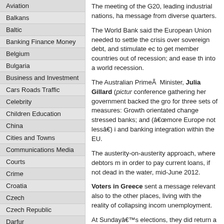Aviation
Balkans
Baltic
Banking Finance Money
Belgium
Bulgaria
Business and Investment
Cars Roads Traffic
Celebrity
Children Education
China
Cities and Towns
Communications Media
Courts
Crime
Croatia
Czech
Czech Republic
Darfur
Denmark
Development Aid
The meeting of the G20, leading industrial nations, ha... message from diverse quarters.
The World Bank said the European Union needed to settle the crisis over sovereign debt, and stimulate ec... to get member countries out of recession; and ease th... into a world recession.
The Australian PrimeÂ Minister, Julia Gillard (pictur... conference gathering her government backed the gro... for three sets of measures: Growth orientated change... stressed banks; and (â€œmore Europe not lessâ€) i... and banking integration within the EU.
The austerity-on-austerity approach, where debtors m... in order to pay current loans, if not dead in the water, ... mid-June 2012.
Voters in Greece sent a message relevant also to the... other places, living with the reality of collapsing incom... unemployment.
At Sundayâ€™s elections, they did return a coalition ... right, committed to austerity in exchange for debt relie...
However, the electorate also delivered major support... parliamentary bloc, to the left wing Syriza movement...